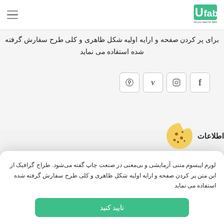UFab - All you need for fabrication
برای پر کردن صفحه و ارایه اولیه شکل ظاهری و کلی طرح سفارش گرفته شده استفاده می نماید
[Figure (infographic): Social media icon buttons: Pinterest, Vimeo, Instagram, Facebook]
اطلاعات
لورم اپیسوم متنی آزمایشی و بی‌معنی در صنعت چاپ گفته می‌شود. طراح گرافیک از این متن پر کردن صفحه و ارایه اولیه شکل ظاهری و کلی طرح سفارش گرفته شده استفاده می نماید
تایید کنید